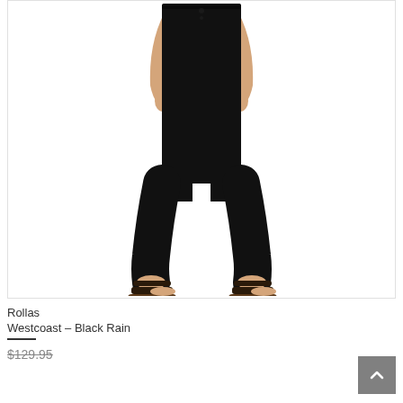[Figure (photo): A woman wearing black skinny jeans (Rollas Westcoast Black Rain) paired with black Birkenstock-style sandals, shown from waist down against a white background.]
Rollas
Westcoast – Black Rain
$129.95